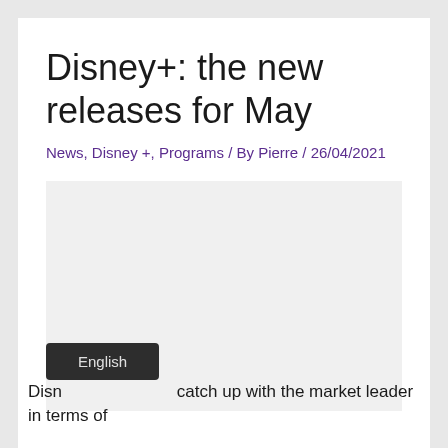Disney+: the new releases for May
News, Disney +, Programs / By Pierre / 26/04/2021
[Figure (photo): Image placeholder area for Disney+ content]
[Figure (screenshot): English language button overlay]
Disn... catch up with the market leader in terms of